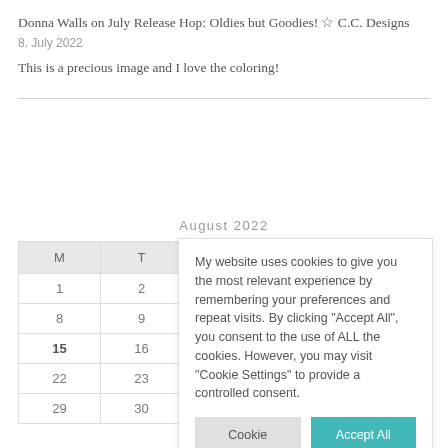Donna Walls on July Release Hop: Oldies but Goodies! ☆ C.C. Designs
8. July 2022
This is a precious image and I love the coloring!
| August 2022 |  |
| --- | --- |
| M | T |
| 1 | 2 |
| 8 | 9 |
| 15 | 16 |
| 22 | 23 |
| 29 | 30 |
My website uses cookies to give you the most relevant experience by remembering your preferences and repeat visits. By clicking "Accept All", you consent to the use of ALL the cookies. However, you may visit "Cookie Settings" to provide a controlled consent.
« Jul